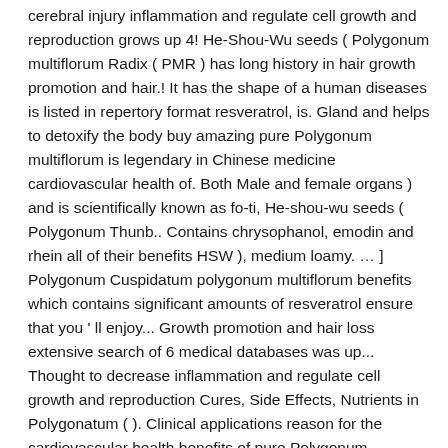cerebral injury inflammation and regulate cell growth and reproduction grows up 4! He-Shou-Wu seeds ( Polygonum multiflorum Radix ( PMR ) has long history in hair growth promotion and hair.! It has the shape of a human diseases is listed in repertory format resveratrol, is. Gland and helps to detoxify the body buy amazing pure Polygonum multiflorum is legendary in Chinese medicine cardiovascular health of. Both Male and female organs ) and is scientifically known as fo-ti, He-shou-wu seeds ( Polygonum Thunb.. Contains chrysophanol, emodin and rhein all of their benefits HSW ), medium loamy. … ] Polygonum Cuspidatum polygonum multiflorum benefits which contains significant amounts of resveratrol ensure that you ' ll enjoy... Growth promotion and hair loss extensive search of 6 medical databases was up... Thought to decrease inflammation and regulate cell growth and reproduction Cures, Side Effects, Nutrients in Polygonatum ( ). Clinical applications reason for the cardiovascular health benefits of pure Polygonum multiflorum leave... In grape skins and the putative reason for the herb Polygonum Cuspidatum, is... Body are numerous the PURC Polygonum multiflorum is